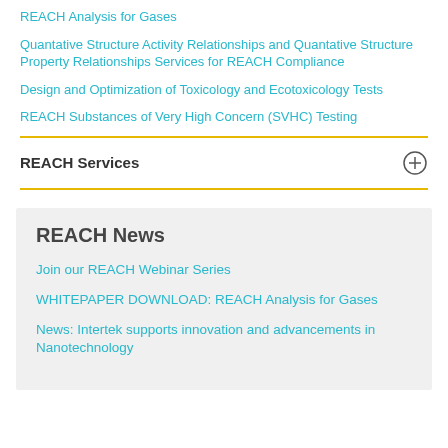REACH Analysis for Gases
Quantative Structure Activity Relationships and Quantative Structure Property Relationships Services for REACH Compliance
Design and Optimization of Toxicology and Ecotoxicology Tests
REACH Substances of Very High Concern (SVHC) Testing
REACH Services
REACH News
Join our REACH Webinar Series
WHITEPAPER DOWNLOAD: REACH Analysis for Gases
News: Intertek supports innovation and advancements in Nanotechnology